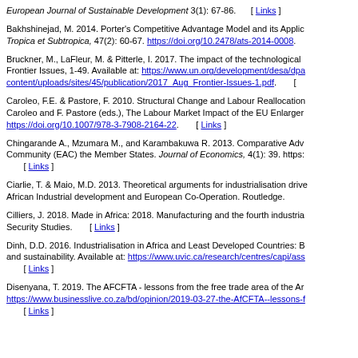European Journal of Sustainable Development 3(1): 67-86. [ Links ]
Bakhshinejad, M. 2014. Porter's Competitive Advantage Model and its Applic… Tropica et Subtropica, 47(2): 60-67. https://doi.org/10.2478/ats-2014-0008.
Bruckner, M., LaFleur, M. & Pitterle, I. 2017. The impact of the technological… Frontier Issues, 1-49. Available at: https://www.un.org/development/desa/dpa/content/uploads/sites/45/publication/2017_Aug_Frontier-Issues-1.pdf. [
Caroleo, F.E. & Pastore, F. 2010. Structural Change and Labour Reallocation… Caroleo and F. Pastore (eds.), The Labour Market Impact of the EU Enlarger… https://doi.org/10.1007/978-3-7908-2164-22. [ Links ]
Chingarande A., Mzumara M., and Karambakuwa R. 2013. Comparative Adv… Community (EAC) the Member States. Journal of Economics, 4(1): 39. https:… [ Links ]
Ciarlie, T. & Maio, M.D. 2013. Theoretical arguments for industrialisation drive… African Industrial development and European Co-Operation. Routledge.
Cilliers, J. 2018. Made in Africa: 2018. Manufacturing and the fourth industria… Security Studies. [ Links ]
Dinh, D.D. 2016. Industrialisation in Africa and Least Developed Countries: B… and sustainability. Available at: https://www.uvic.ca/research/centres/capi/ass… [ Links ]
Disenyana, T. 2019. The AFCFTA - lessons from the free trade area of the Ar… https://www.businesslive.co.za/bd/opinion/2019-03-27-the-AfCFTA--lessons-f… [ Links ]